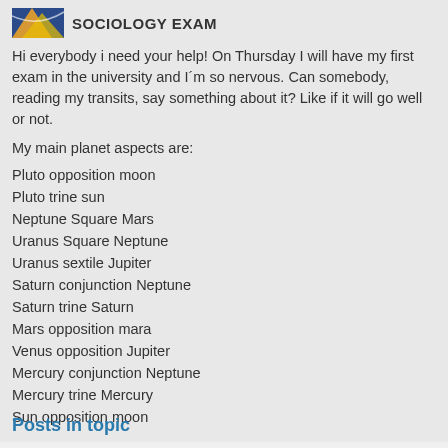SOCIOLOGY EXAM
Hi everybody i need your help! On Thursday I will have my first exam in the university and I´m so nervous. Can somebody, reading my transits, say something about it? Like if it will go well or not.
My main planet aspects are:
Pluto opposition moon
Pluto trine sun
Neptune Square Mars
Uranus Square Neptune
Uranus sextile Jupiter
Saturn conjunction Neptune
Saturn trine Saturn
Mars opposition mara
Venus opposition Jupiter
Mercury conjunction Neptune
Mercury trine Mercury
Sun opposition moon
Posts in topic